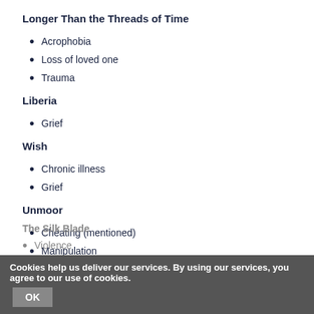Longer Than the Threads of Time
Acrophobia
Loss of loved one
Trauma
Liberia
Grief
Wish
Chronic illness
Grief
Unmoor
Cheating (mentioned)
Manipulation
Trauma
The Silk Blade
Violence
Cookies help us deliver our services. By using our services, you agree to our use of cookies. OK